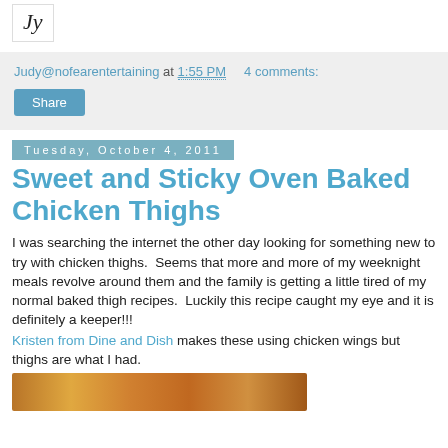[Figure (logo): Cursive script logo/signature in black on white background with border]
Judy@nofearentertaining at 1:55 PM   4 comments:
Share
Tuesday, October 4, 2011
Sweet and Sticky Oven Baked Chicken Thighs
I was searching the internet the other day looking for something new to try with chicken thighs.  Seems that more and more of my weeknight meals revolve around them and the family is getting a little tired of my normal baked thigh recipes.  Luckily this recipe caught my eye and it is definitely a keeper!!!
Kristen from Dine and Dish makes these using chicken wings but thighs are what I had.
[Figure (photo): Photo of sweet and sticky baked chicken thighs, orange-brown glazed pieces]